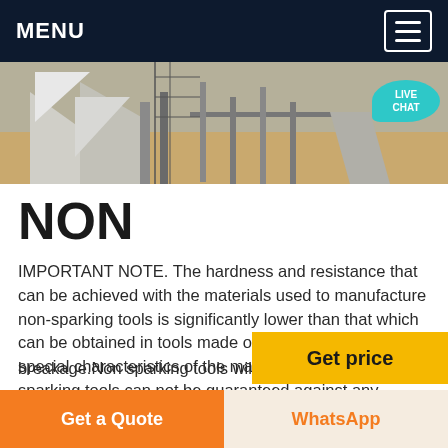MENU
[Figure (photo): Construction site photo showing concrete structures, scaffolding and sandy ground with a teal 'LIVE CHAT' speech bubble overlay in the top right corner]
NON
IMPORTANT NOTE. The hardness and resistance that can be achieved with the materials used to manufacture non-sparking tools is significantly lower than that which can be obtained in tools made of steel. Due to these special characteristics of the material employed, non sparking tools can not be guaranteed against any deformation or breakage.Non sparking tools will be
Get price
Get a Quote
WhatsApp